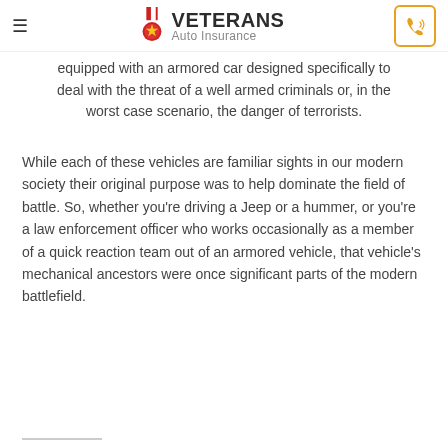Veterans Auto Insurance
equipped with an armored car designed specifically to deal with the threat of a well armed criminals or, in the worst case scenario, the danger of terrorists.
While each of these vehicles are familiar sights in our modern society their original purpose was to help dominate the field of battle. So, whether you're driving a Jeep or a hummer, or you're a law enforcement officer who works occasionally as a member of a quick reaction team out of an armored vehicle, that vehicle's mechanical ancestors were once significant parts of the modern battlefield.